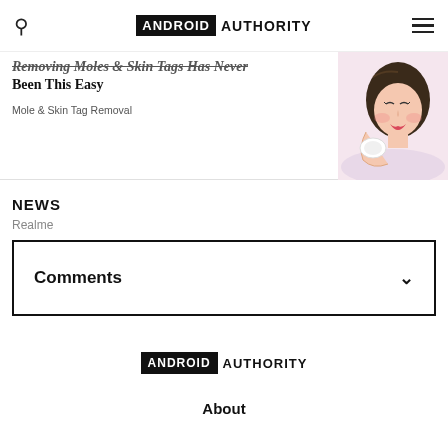ANDROID AUTHORITY
Removing Moles & Skin Tags Has Never Been This Easy
Mole & Skin Tag Removal
NEWS
Realme
Comments
[Figure (logo): Android Authority logo footer]
About